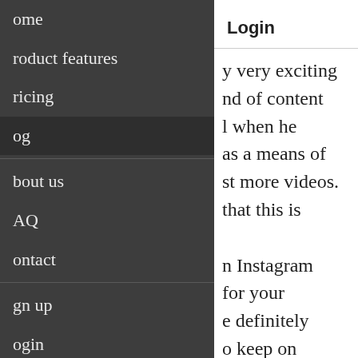Home
Product features
Pricing
Blog
About us
FAQ
Contact
Sign up
Login
Login
y very exciting nd of content l when he as a means of st more videos. that this is n Instagram for your e definitely o keep on